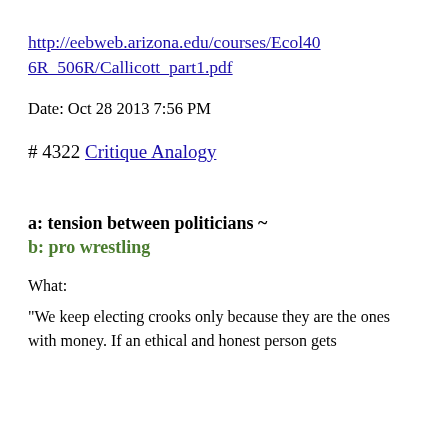http://eebweb.arizona.edu/courses/Ecol406R_506R/Callicott_part1.pdf
Date: Oct 28 2013 7:56 PM
# 4322 Critique Analogy
a: tension between politicians ~
b: pro wrestling
What:
"We keep electing crooks only because they are the ones with money. If an ethical and honest person gets